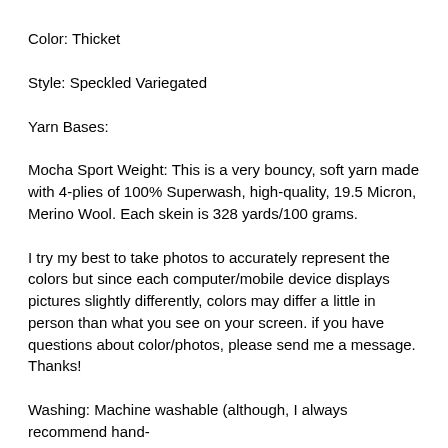Color: Thicket
Style: Speckled Variegated
Yarn Bases:
Mocha Sport Weight: This is a very bouncy, soft yarn made with 4-plies of 100% Superwash, high-quality, 19.5 Micron, Merino Wool. Each skein is 328 yards/100 grams.
I try my best to take photos to accurately represent the colors but since each computer/mobile device displays pictures slightly differently, colors may differ a little in person than what you see on your screen. if you have questions about color/photos, please send me a message. Thanks!
Washing: Machine washable (although, I always recommend hand-